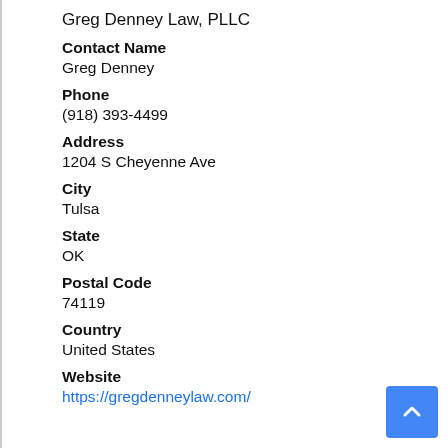Greg Denney Law, PLLC
Contact Name
Greg Denney
Phone
(918) 393-4499
Address
1204 S Cheyenne Ave
City
Tulsa
State
OK
Postal Code
74119
Country
United States
Website
https://gregdenneylaw.com/